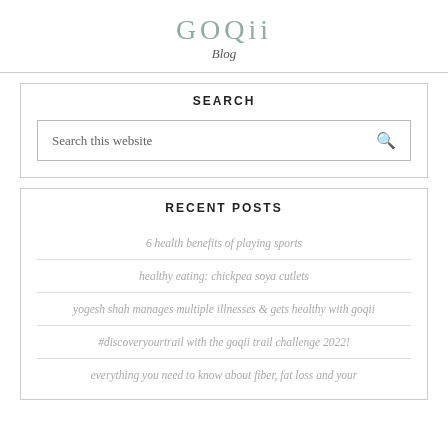GOQii Blog
SEARCH
Search this website
RECENT POSTS
6 health benefits of playing sports
healthy eating: chickpea soya cutlets
yogesh shah manages multiple illnesses & gets healthy with goqii
#discoveryourtrail with the goqii trail challenge 2022!
everything you need to know about fiber, fat loss and your